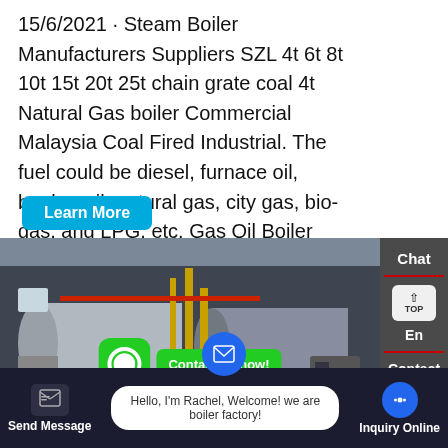15/6/2021 · Steam Boiler Manufacturers Suppliers SZL 4t 6t 8t 10t 15t 20t 25t chain grate coal 4t Natural Gas boiler Commercial Malaysia Coal Fired Industrial. The fuel could be diesel, furnace oil, bunker oil, natural gas, city gas, bio-gas, and LPG, etc. Gas Oil Boiler Installation Site
[Figure (other): Button labeled Learn More with cyan/blue background]
[Figure (photo): Industrial boiler installation site showing large cylindrical steam boilers in a factory building with pipes and equipment]
[Figure (other): WhatsApp icon (green rounded square with phone handset) and green Contact us now! button overlay on the boiler photo]
[Figure (other): Right sidebar with Chat, TOP button, En, and Contact labels on dark background]
Hello, I'm Rachel, Welcome! we are boiler factory!
Send Message
Inquiry Online